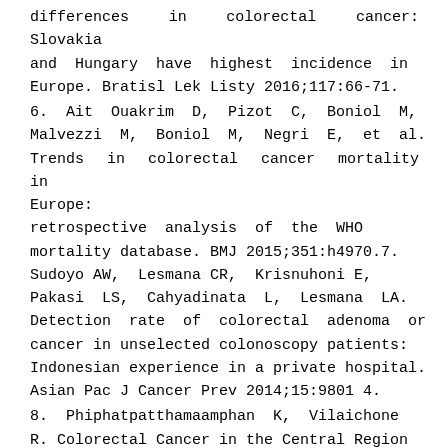differences in colorectal cancer: Slovakia and Hungary have highest incidence in Europe. Bratisl Lek Listy 2016;117:66-71.
6.  Ait Ouakrim D, Pizot C, Boniol M, Malvezzi M, Boniol M, Negri E, et al. Trends in colorectal cancer mortality in Europe: retrospective analysis of the WHO mortality database. BMJ 2015;351:h4970.7. Sudoyo AW, Lesmana CR, Krisnuhoni E, Pakasi LS, Cahyadinata L, Lesmana LA. Detection rate of colorectal adenoma or cancer in unselected colonoscopy patients: Indonesian experience in a private hospital. Asian Pac J Cancer Prev 2014;15:9801 4.
8.  Phiphatpatthamaamphan K, Vilaichone R. Colorectal Cancer in the Central Region of Thailand. Asian Pac J Cancer Prev 2016;17:3647-50.
9. Tilson L, Sharp L, Usher C, Walsh C, S W,